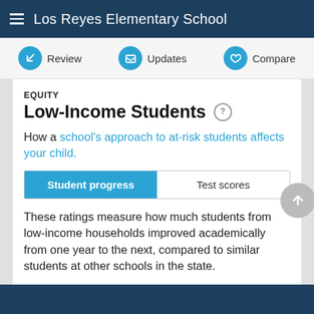Los Reyes Elementary School
Review | Updates | Compare
EQUITY
Low-Income Students
How a school's approach to at-risk students affects your child.
Student progress | Test scores
These ratings measure how much students from low-income households improved academically from one year to the next, compared to similar students at other schools in the state.